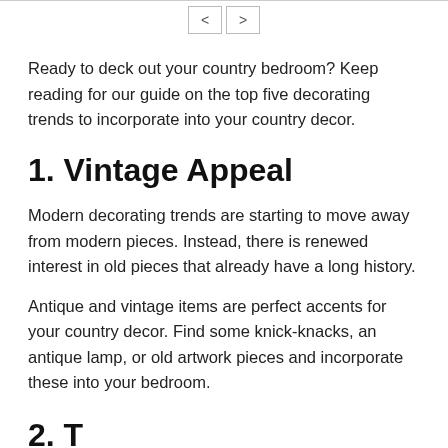< >
Ready to deck out your country bedroom? Keep reading for our guide on the top five decorating trends to incorporate into your country decor.
1. Vintage Appeal
Modern decorating trends are starting to move away from modern pieces. Instead, there is renewed interest in old pieces that already have a long history.
Antique and vintage items are perfect accents for your country decor. Find some knick-knacks, an antique lamp, or old artwork pieces and incorporate these into your bedroom.
2. T...